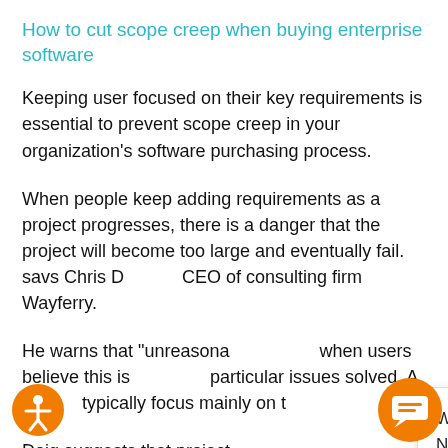How to cut scope creep when buying enterprise software
Keeping user focused on their key requirements is essential to prevent scope creep in your organization's software purchasing process.
When people keep adding requirements as a project progresses, there is a danger that the project will become too large and eventually fail. savs Chris D, CEO of consulting firm Wayferry.
He warns that "unreasona... when users believe this is... particular issues solved. A... typically focus mainly on t...
Doig suggests that project... users to accurately determine their needs and rate requirements according to importance to come up with... requirements profile by which all products will be eval... th.
[Figure (screenshot): Popup dialog: Welcome to Allstream – North America's leading all-business provider of voice and collaboration, connectivity and managed IT. With orange Allstream logo circle, close X button, accessibility icon bottom left, and chat bubble bottom right.]